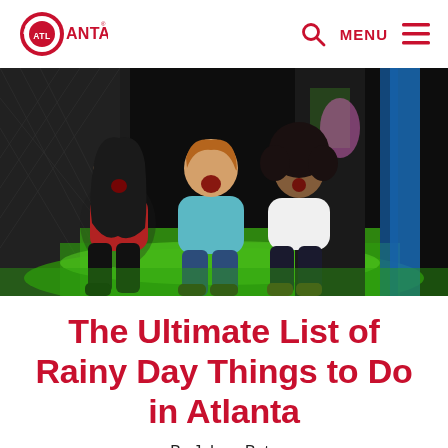Atlanta — navigation bar with logo, search icon, MENU, and hamburger icon
[Figure (photo): Three children laughing and sliding down a green slide at an indoor play center. The boy in the middle wears a teal shirt; the girl on the left wears a red top; the girl on the right wears a white shirt. The background shows a dark indoor facility with netting and blue structural elements.]
The Ultimate List of Rainy Day Things to Do in Atlanta
By Joleen Bata